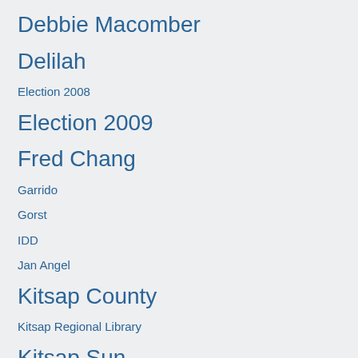Debbie Macomber
Delilah
Election 2008
Election 2009
Fred Chang
Garrido
Gorst
IDD
Jan Angel
Kitsap County
Kitsap Regional Library
Kitsap Sun
Lary Coppola
lew